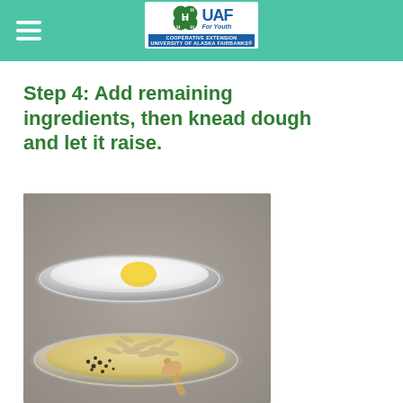UAF Cooperative Extension for Youth — University of Alaska Fairbanks
Step 4: Add remaining ingredients, then knead dough and let it raise.
[Figure (photo): Overhead photo of two metal bowls on a gray surface. The top bowl contains white flour with a yellow pat of butter. The bottom bowl contains a liquid (egg/milk mixture) with rolled oats and dark seeds (poppy or sesame) being added.]